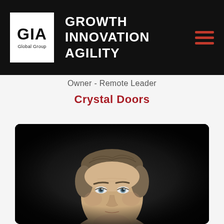[Figure (logo): GIA Global Group logo — white box with bold black GIA text and 'Global Group' below, on black background header with 'GROWTH INNOVATION AGILITY' tagline and red hamburger menu icon]
Owner - Remote Leader
Crystal Doors
[Figure (photo): Professional headshot of a middle-aged man with short brown/grey hair and light eyes, photographed against a dark background]